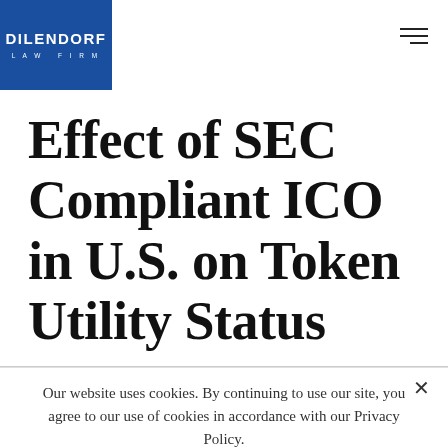[Figure (logo): Dilendorf Law Firm logo — white text on blue square background, reading DILENDORF in bold and LAW FIRM in spaced capitals below]
Effect of SEC Compliant ICO in U.S. on Token Utility Status
Our website uses cookies. By continuing to use our site, you agree to our use of cookies in accordance with our Privacy Policy.